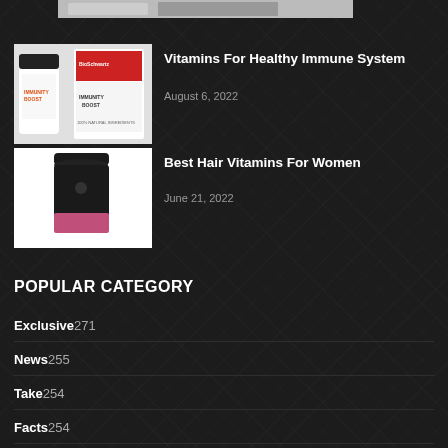[Figure (photo): Partial top strip of immunity boost product image]
[Figure (photo): BioSchwartz Immunity Boost supplement bottles on white background]
Vitamins For Healthy Immune System
August 6, 2022
[Figure (photo): Dark glass supplement bottle with pink/magenta label on white background]
Best Hair Vitamins For Women
June 21, 2022
POPULAR CATEGORY
Exclusive 271
News 255
Take 254
Facts 254